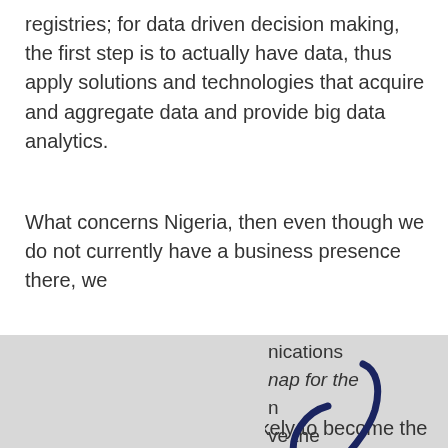registries; for data driven decision making, the first step is to actually have data, thus apply solutions and technologies that acquire and aggregate data and provide big data analytics.
What concerns Nigeria, then even though we do not currently have a business presence there, we
nications
map for the
n
ve the
rocesses
witnessed
and
ne day
a
ody.
[Figure (logo): Stylized dark blue script letter or symbol logo for Global Voice Group]
Global Voice Group collects cookies to offer you the best possible online experience, but needs your permission to do so. By clicking “Accept All”, you consent to the use of all the cookies.
ta
post
COVID -19 era; what are likely to become the ‘new